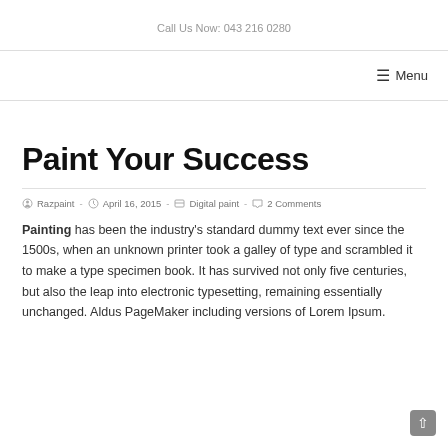Call Us Now: 043 216 0280
☰ Menu
Paint Your Success
Razpaint  -  April 16, 2015  -  Digital paint  -  2 Comments
Painting has been the industry's standard dummy text ever since the 1500s, when an unknown printer took a galley of type and scrambled it to make a type specimen book. It has survived not only five centuries, but also the leap into electronic typesetting, remaining essentially unchanged. Aldus PageMaker including versions of Lorem Ipsum.